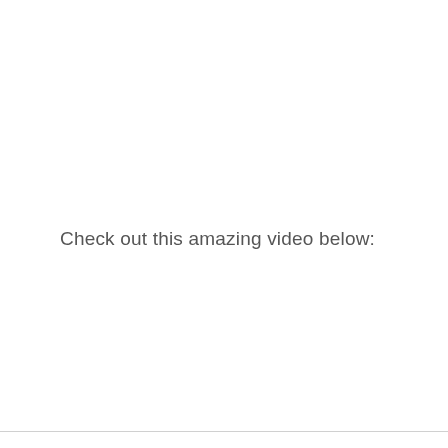Check out this amazing video below: